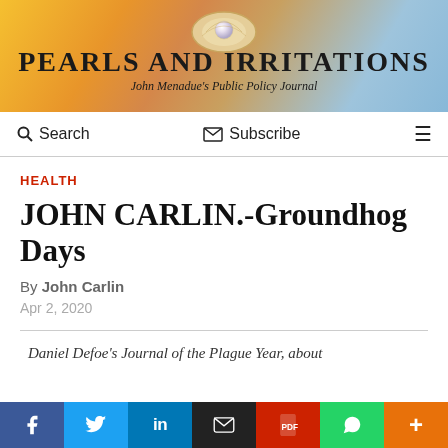[Figure (illustration): Pearls and Irritations website header banner with sunset/ocean gradient background and pearl/shell graphic. Title: PEARLS AND IRRITATIONS. Subtitle: John Menadue's Public Policy Journal]
PEARLS AND IRRITATIONS
John Menadue's Public Policy Journal
Search   Subscribe   ☰
HEALTH
JOHN CARLIN.-Groundhog Days
By John Carlin
Apr 2, 2020
Daniel Defoe's Journal of the Plague Year, about
[Figure (other): Social media share bar with buttons: Facebook (blue), Twitter (light blue), LinkedIn (dark blue), Email (black), PDF (red), WhatsApp (green), More (orange)]